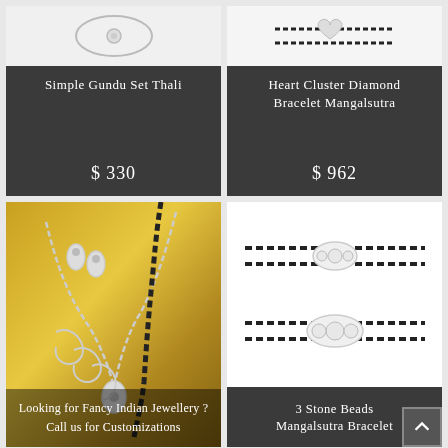[Figure (photo): Product card showing Simple Gundu Set Thali jewelry on dark background]
Simple Gundu Set Thali
$ 330
[Figure (photo): Product card showing Heart Cluster Diamond Bracelet Mangalsutra on dark background]
Heart Cluster Diamond Bracelet Mangalsutra
$ 962
[Figure (photo): Photo of fancy Indian jewellery set with necklace, bracelet and earrings on gold background]
Looking for Fancy Indian Jewellery?
Call us for Customizations
[Figure (photo): Product card showing 3 Stone Beads Mangalsutra Bracelet — two bracelets with black beads and diamond clusters on white background]
3 Stone Beads Mangalsutra Bracelet